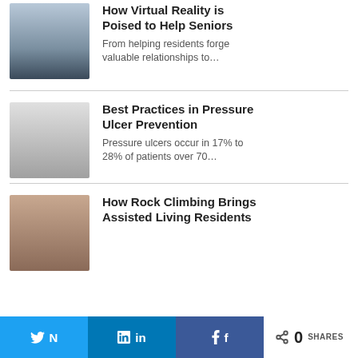[Figure (photo): Headshot of a man with glasses wearing a dark sweater, partial top crop]
How Virtual Reality is Poised to Help Seniors
From helping residents forge valuable relationships to…
[Figure (photo): Black and white headshot of a woman with curly hair, smiling]
Best Practices in Pressure Ulcer Prevention
Pressure ulcers occur in 17% to 28% of patients over 70…
[Figure (photo): Headshot of a woman with dark hair against a wooden background, partially cropped]
How Rock Climbing Brings Assisted Living Residents
0 SHARES